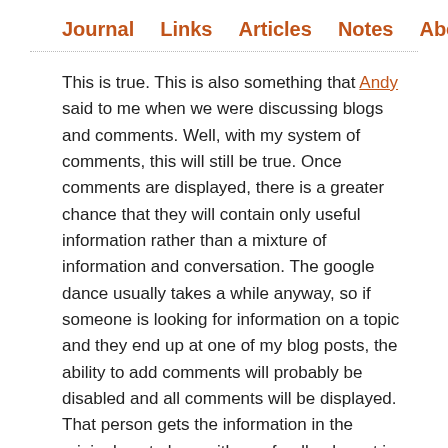Journal  Links  Articles  Notes  About
This is true. This is also something that Andy said to me when we were discussing blogs and comments. Well, with my system of comments, this will still be true. Once comments are displayed, there is a greater chance that they will contain only useful information rather than a mixture of information and conversation. The google dance usually takes a while anyway, so if someone is looking for information on a topic and they end up at one of my blog posts, the ability to add comments will probably be disabled and all comments will be displayed. That person gets the information in the original post along with any feedback sent in via a comment. In fact, I would argue that my comment system will prove more valuable for long-term information search.
But how long is long? For how long should the ability to add a comment be available? For the inaugural post, I chose one